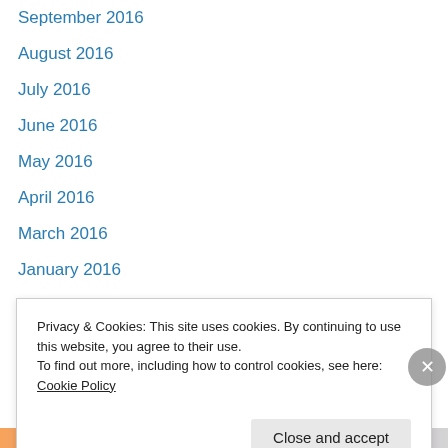September 2016
August 2016
July 2016
June 2016
May 2016
April 2016
March 2016
January 2016
December 2015
November 2015
October 2015
September 2015
August 2015
Privacy & Cookies: This site uses cookies. By continuing to use this website, you agree to their use.
To find out more, including how to control cookies, see here: Cookie Policy